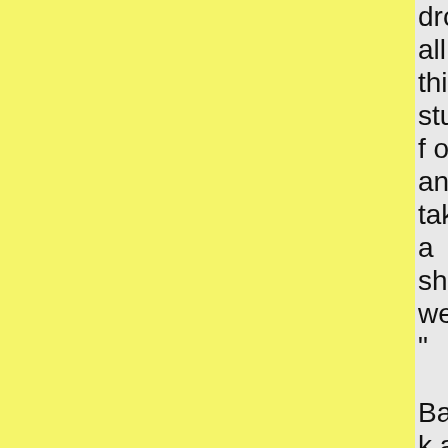drop all this stuff off and take a shower."

Back at our hostel I passed by a girl who I